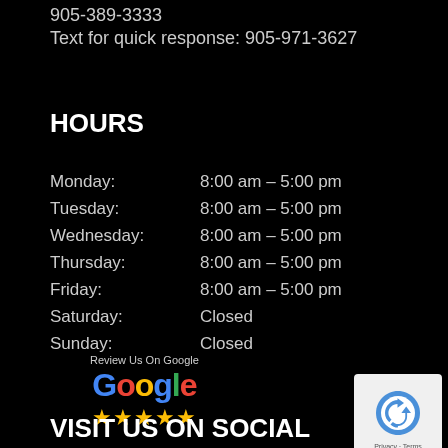905-389-3333
Text for quick response: 905-971-3627
HOURS
| Day | Hours |
| --- | --- |
| Monday: | 8:00 am – 5:00 pm |
| Tuesday: | 8:00 am – 5:00 pm |
| Wednesday: | 8:00 am – 5:00 pm |
| Thursday: | 8:00 am – 5:00 pm |
| Friday: | 8:00 am – 5:00 pm |
| Saturday: | Closed |
| Sunday: | Closed |
[Figure (logo): Google review logo with 5 gold stars and 'Review Us On Google' label]
[Figure (logo): reCAPTCHA logo with Privacy and Terms links]
VISIT US ON SOCIAL